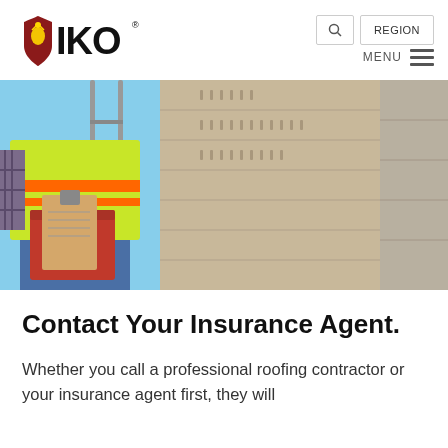IKO — Navigation header with logo, search, region, and menu
[Figure (photo): A worker in a bright yellow and orange safety vest climbs a ladder while holding a clipboard, inspecting the eaves and soffit area of a house roof. The image is taken from a low angle looking up.]
Contact Your Insurance Agent.
Whether you call a professional roofing contractor or your insurance agent first, they will